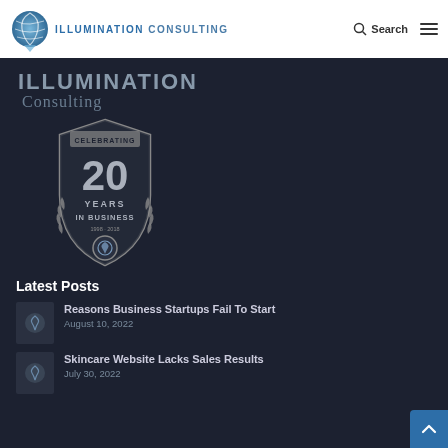Illumination Consulting — Search navigation
[Figure (logo): Illumination Consulting logo with spiral globe icon and company name in blue and gray text]
Illumination Consulting
[Figure (logo): Celebrating 20 Years in Business badge/emblem with laurel wreath, shield shape, and years 1998-2018]
Latest Posts
Reasons Business Startups Fail To Start — August 10, 2022
Skincare Website Lacks Sales Results — July 30, 2022